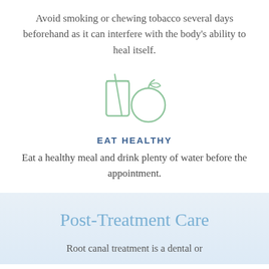Avoid smoking or chewing tobacco several days beforehand as it can interfere with the body's ability to heal itself.
[Figure (illustration): Light green outline icon of a glass with a straw and an apple beside it, representing healthy food and drink.]
EAT HEALTHY
Eat a healthy meal and drink plenty of water before the appointment.
Post-Treatment Care
Root canal treatment is a dental or